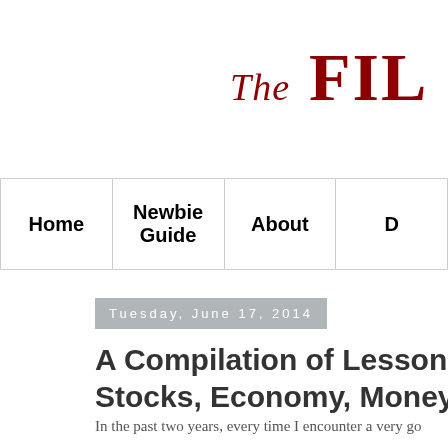The Fil
| Home | Newbie Guide | About | D |
| --- | --- | --- | --- |
Tuesday, June 17, 2014
A Compilation of Lessons/Q Stocks, Economy, Money, W
In the past two years, every time I encounter a very go